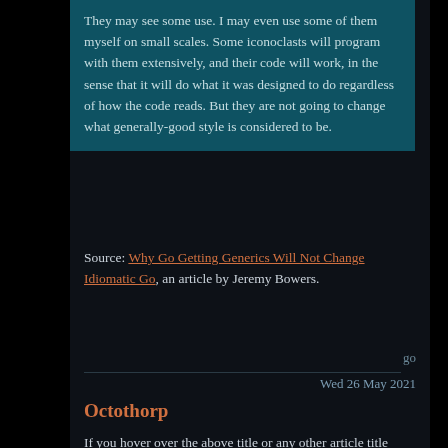They may see some use. I may even use some of them myself on small scales. Some iconoclasts will program with them extensively, and their code will work, in the sense that it will do what it was designed to do regardless of how the code reads. But they are not going to change what generally-good style is considered to be.
Source: Why Go Getting Generics Will Not Change Idiomatic Go, an article by Jeremy Bowers.
go
Wed 26 May 2021
Octothorp
If you hover over the above title or any other article title on this blog you might notice an octothorp, also known as hash sign or pound